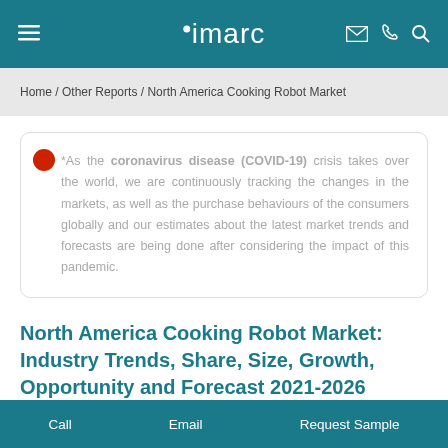imarc
Home / Other Reports / North America Cooking Robot Market
As the coronavirus disease (COVID-19) crisis takes over the world, we are continuously tracking the changes in the markets, as well as the purchase behaviours of the consumers globally and our estimates about the latest market trends and forecasts are being done after considering the impact of this pandemic.
North America Cooking Robot Market: Industry Trends, Share, Size, Growth, Opportunity and Forecast 2021-2026
Call  Email  Request Sample